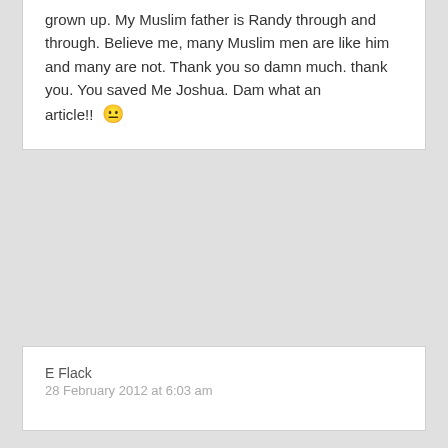grown up. My Muslim father is Randy through and through. Believe me, many Muslim men are like him and many are not. Thank you so damn much. thank you. You saved Me Joshua. Dam what an article!! 😐
E Flack
28 February 2012 at 6:03 am
This is a great article. Another thing to note is that controlling people are insecure, hence working from the outside in. I am sure this is known just wanted to point out.
Emma
24 March 2012 at 11:58 am
What to do when the hubby now ex is a